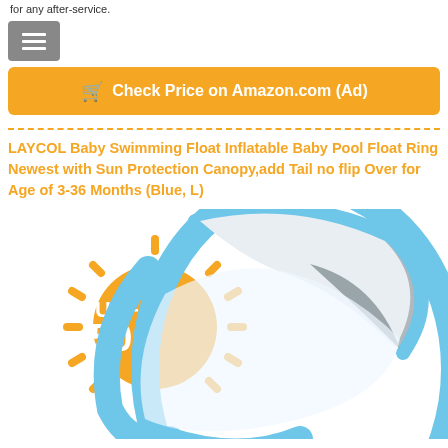for any after-service.
[Figure (screenshot): Menu/hamburger icon button with three horizontal white lines on gray background]
[Figure (other): Orange button with shopping cart icon and text: Check Price on Amazon.com (Ad)]
LAYCOL Baby Swimming Float Inflatable Baby Pool Float Ring Newest with Sun Protection Canopy,add Tail no flip Over for Age of 3-36 Months (Blue, L)
[Figure (photo): Photo of LAYCOL baby pool float ring with blue inflatable ring and sun canopy showing UPF 50+ logo in orange]